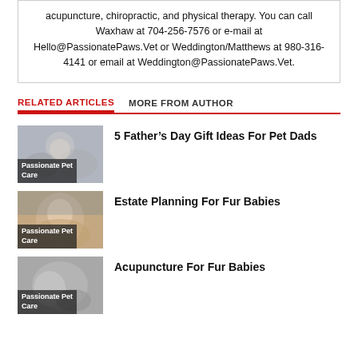acupuncture, chiropractic, and physical therapy. You can call Waxhaw at 704-256-7576 or e-mail at Hello@PassionatePaws.Vet or Weddington/Matthews at 980-316-4141 or email at Weddington@PassionatePaws.Vet.
RELATED ARTICLES   MORE FROM AUTHOR
Passionate Pet Care
5 Father's Day Gift Ideas For Pet Dads
Passionate Pet Care
Estate Planning For Fur Babies
Passionate Pet Care
Acupuncture For Fur Babies